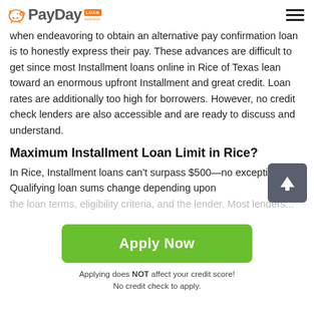PayDay LOAN solution
when endeavoring to obtain an alternative pay confirmation loan is to honestly express their pay. These advances are difficult to get since most Installment loans online in Rice of Texas lean toward an enormous upfront Installment and great credit. Loan rates are additionally too high for borrowers. However, no credit check lenders are also accessible and are ready to discuss and understand.
Maximum Installment Loan Limit in Rice?
In Rice, Installment loans can't surpass $500—no exceptions. Qualifying loan sums change depending upon the...
[Figure (other): Green scroll-to-top button with upward arrow icon]
[Figure (other): Green Apply Now button]
Applying does NOT affect your credit score!
No credit check to apply.